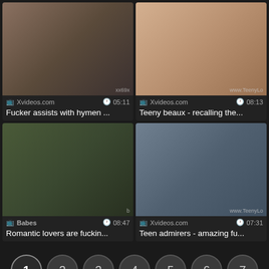[Figure (screenshot): Video thumbnail grid with 4 video cards, each showing a thumbnail image, source site, duration, and title. Below the grid is a pagination row with page numbers 1-7.]
Xvideos.com  05:11  Fucker assists with hymen ...
Xvideos.com  08:13  Teeny beaux - recalling the...
Babes  08:47  Romantic lovers are fuckin...
Xvideos.com  07:31  Teen admirers - amazing fu...